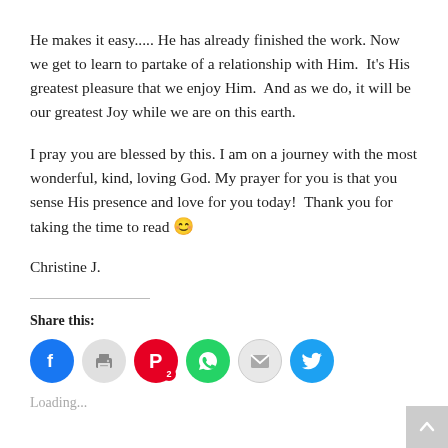He makes it easy..... He has already finished the work. Now we get to learn to partake of a relationship with Him. It's His greatest pleasure that we enjoy Him. And as we do, it will be our greatest Joy while we are on this earth.
I pray you are blessed by this. I am on a journey with the most wonderful, kind, loving God. My prayer for you is that you sense His presence and love for you today! Thank you for taking the time to read 😊
Christine J.
Share this:
[Figure (infographic): Social share buttons: Facebook (blue circle), Print (gray circle), Pinterest (red circle with badge '2'), WhatsApp (green circle), Email (gray circle), Twitter (blue circle)]
Loading...